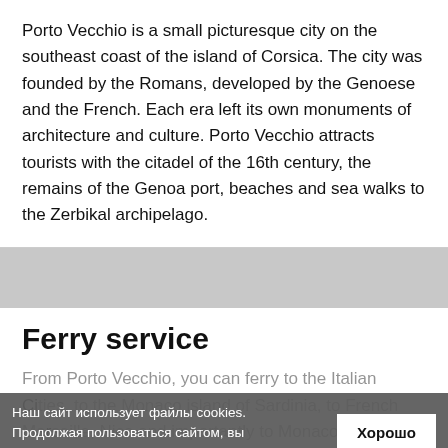Porto Vecchio is a small picturesque city on the southeast coast of the island of Corsica. The city was founded by the Romans, developed by the Genoese and the French. Each era left its own monuments of architecture and culture. Porto Vecchio attracts tourists with the citadel of the 16th century, the remains of the Genoa port, beaches and sea walks to the Zerbikal archipelago.
Ferry service
From Porto Vecchio, you can ferry to the Italian Cities, to the Monaco island of Sardinia, to French Marseille, Nice and importantly to Monaco. Tr… is carried out by Corsica Linea, Corsica Ferries...
Наш сайт использует файлы cookies. Продолжая пользоваться сайтом, вы соглашаетесь на их использование.